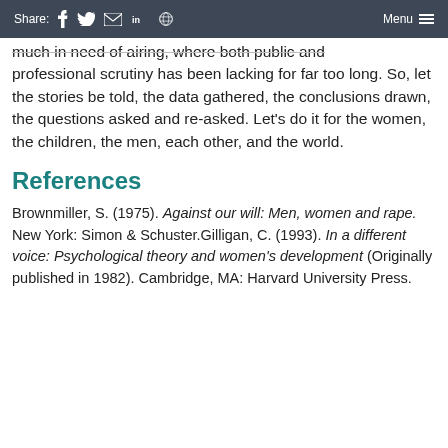Share: [facebook] [twitter] [email] [linkedin] [reddit]  Menu
much in need of airing, where both public and professional scrutiny has been lacking for far too long. So, let the stories be told, the data gathered, the conclusions drawn, the questions asked and re-asked. Let's do it for the women, the children, the men, each other, and the world.
References
Brownmiller, S. (1975). Against our will: Men, women and rape. New York: Simon & Schuster.Gilligan, C. (1993). In a different voice: Psychological theory and women's development (Originally published in 1982). Cambridge, MA: Harvard University Press.